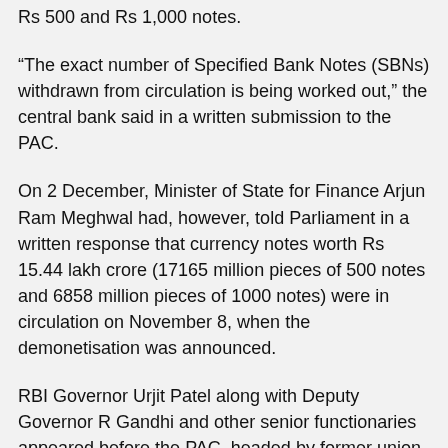Rs 500 and Rs 1,000 notes.
“The exact number of Specified Bank Notes (SBNs) withdrawn from circulation is being worked out,” the central bank said in a written submission to the PAC.
On 2 December, Minister of State for Finance Arjun Ram Meghwal had, however, told Parliament in a written response that currency notes worth Rs 15.44 lakh crore (17165 million pieces of 500 notes and 6858 million pieces of 1000 notes) were in circulation on November 8, when the demonetisation was announced.
RBI Governor Urjit Patel along with Deputy Governor R Gandhi and other senior functionaries appeared before the PAC, headed by former union minister and senior Congress leader K V Thomas, for oral evidence on ‘Review of Monetary Policy’.
Sources told PTI the RBI was asked about the